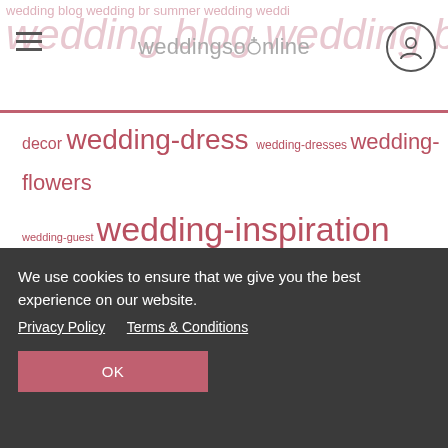weddingsonline
[Figure (other): Word cloud / tag cloud of wedding-related tags in varying font sizes, all in rose/pink color: decor, wedding-dress, wedding-dresses, wedding-flowers, wedding-guest, wedding-inspiration, wedding-invitations, wedding-shoes, wedding-stationery, wedding-trends, wedding advice, wedding cake, wedding dresses, wedding fashion, wedding hair, wedding planning, wedding planning advice, wedding reception, wedding style, winter, winter-wedding]
We use cookies to ensure that we give you the best experience on our website.
Privacy Policy   Terms & Conditions
OK